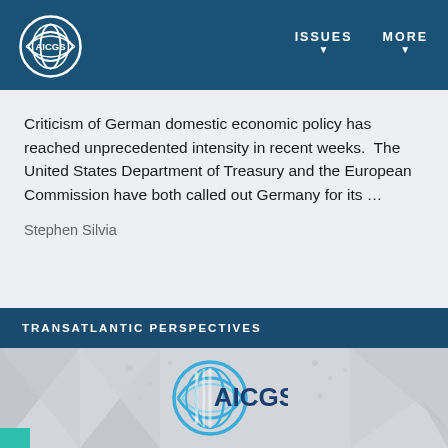[Figure (logo): AICGS logo white on dark navy header with globe/wave graphic]
ISSUES ▾   MORE ▾
Criticism of German domestic economic policy has reached unprecedented intensity in recent weeks. The United States Department of Treasury and the European Commission have both called out Germany for its …
Stephen Silvia
TRANSATLANTIC PERSPECTIVES
[Figure (logo): AICGS logo with blue globe/wave graphic and dark navy text on geometric grey patterned background]